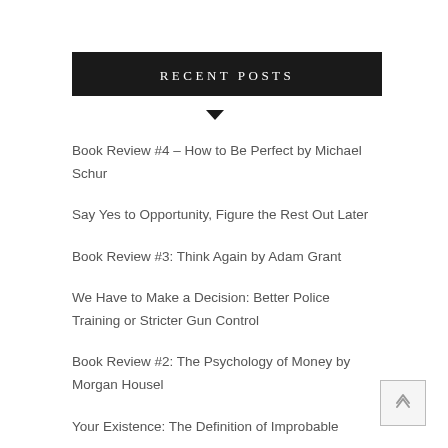RECENT POSTS
Book Review #4 – How to Be Perfect by Michael Schur
Say Yes to Opportunity, Figure the Rest Out Later
Book Review #3: Think Again by Adam Grant
We Have to Make a Decision: Better Police Training or Stricter Gun Control
Book Review #2: The Psychology of Money by Morgan Housel
Your Existence: The Definition of Improbable